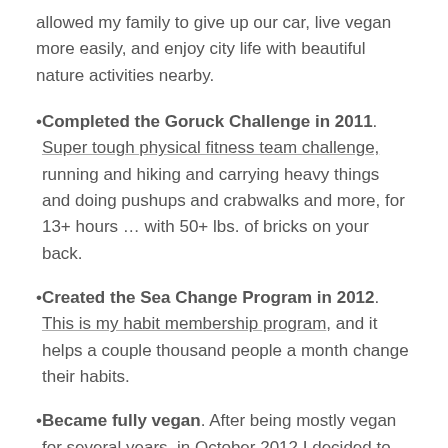allowed my family to give up our car, live vegan more easily, and enjoy city life with beautiful nature activities nearby.
Completed the Goruck Challenge in 2011. Super tough physical fitness team challenge, running and hiking and carrying heavy things and doing pushups and crabwalks and more, for 13+ hours ... with 50+ lbs. of bricks on your back.
Created the Sea Change Program in 2012. This is my habit membership program, and it helps a couple thousand people a month change their habits.
Became fully vegan. After being mostly vegan for several years, in October 2012 I decided to